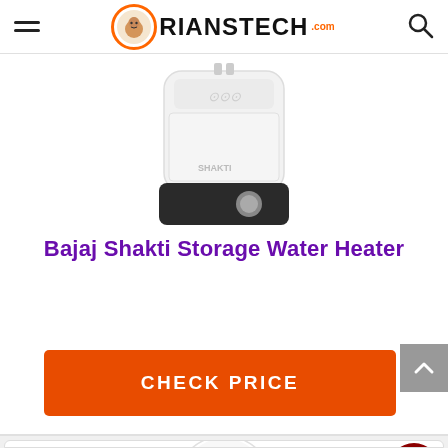RIANSTECH.COM
[Figure (photo): Bajaj Shakti Storage Water Heater product image, white cylindrical shape with decorative pattern and black base with button]
Bajaj Shakti Storage Water Heater
CHECK PRICE
[Figure (photo): AO Smith water heater product image, white and blue colored unit, partially visible at bottom of page, with red badge number 2]